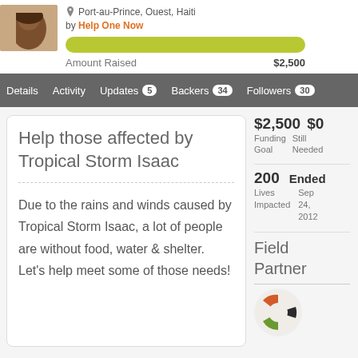[Figure (photo): Partial profile photo of a person, cropped at top]
Port-au-Prince, Ouest, Haiti
by Help One Now
Amount Raised   $2,500
Details   Activity   Updates 5   Backers 34   Followers 30
Help those affected by Tropical Storm Isaac
Due to the rains and winds caused by Tropical Storm Isaac, a lot of people are without food, water & shelter. Let's help meet some of those needs!
$2,500 Funding Goal   $0 Still Needed
200 Lives Impacted   Ended Sep 24, 2012
Field Partner
[Figure (logo): Field partner organization logo - circular with colorful segments]